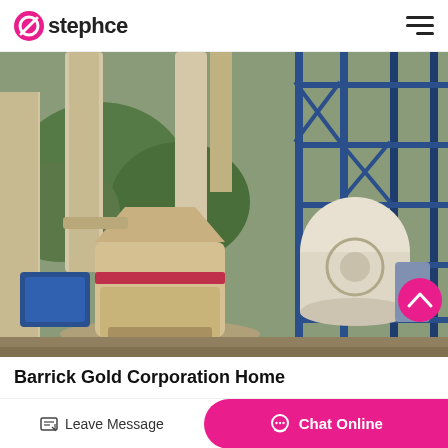stephce
[Figure (photo): Industrial milling/grinding equipment installation site showing large cream/beige colored raymond mill machines with cyclone separators, scaffolding structure with blue steel framing on the right, located outdoors with green vegetation in the background]
Barrick Gold Corporation Home
Barrick will advance its 4,2021...
Leave Message
Chat Online